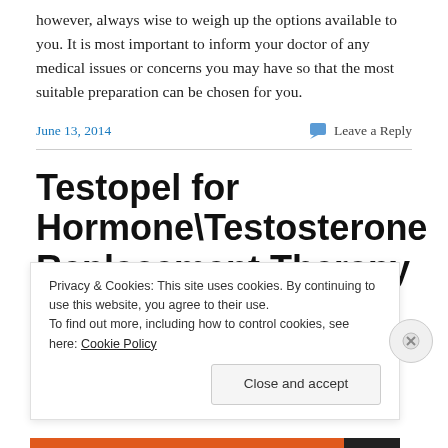however, always wise to weigh up the options available to you. It is most important to inform your doctor of any medical issues or concerns you may have so that the most suitable preparation can be chosen for you.
June 13, 2014
Leave a Reply
Testopel for Hormone\Testosterone Replacement Therapy In Men
Privacy & Cookies: This site uses cookies. By continuing to use this website, you agree to their use.
To find out more, including how to control cookies, see here: Cookie Policy
Close and accept